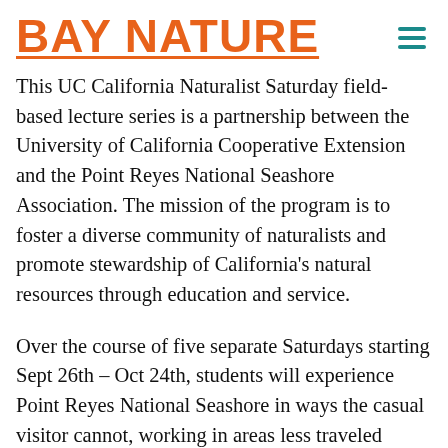BAY NATURE
This UC California Naturalist Saturday field-based lecture series is a partnership between the University of California Cooperative Extension and the Point Reyes National Seashore Association. The mission of the program is to foster a diverse community of naturalists and promote stewardship of California's natural resources through education and service.
Over the course of five separate Saturdays starting Sept 26th – Oct 24th, students will experience Point Reyes National Seashore in ways the casual visitor cannot, working in areas less traveled alongside some of California's most knowledgeable naturalists. Fall is a great time for students to experience the richness and biodiversity that Point